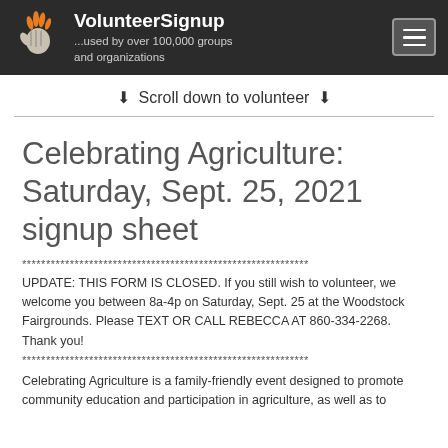VolunteerSignup ...used by over 100,000 groups and organizations
↓  Scroll down to volunteer  ↓
Celebrating Agriculture: Saturday, Sept. 25, 2021 signup sheet
************************************************************
UPDATE: THIS FORM IS CLOSED. If you still wish to volunteer, we welcome you between 8a-4p on Saturday, Sept. 25 at the Woodstock Fairgrounds. Please TEXT OR CALL REBECCA AT 860-334-2268. Thank you!
************************************************************
Celebrating Agriculture is a family-friendly event designed to promote community education and participation in agriculture, as well as to